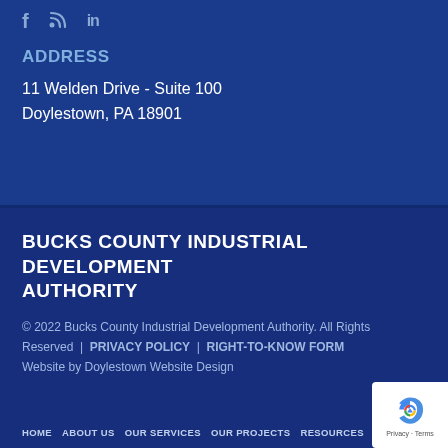[Figure (other): Social media icons: Facebook (f), RSS feed, LinkedIn (in) in light blue/grey on dark blue background]
ADDRESS
11 Welden Drive - Suite 100
Doylestown, PA 18901
BUCKS COUNTY INDUSTRIAL DEVELOPMENT AUTHORITY
© 2022 Bucks County Industrial Development Authority. All Rights Reserved  |  PRIVACY POLICY  |  RIGHT-TO-KNOW FORM
Website by Doylestown Website Design
HOME  ABOUT US  OUR SERVICES  OUR PROJECTS  RESOURCES  NEWS  CONTACT US
[Figure (logo): reCAPTCHA badge with Google logo and Privacy - Terms text]